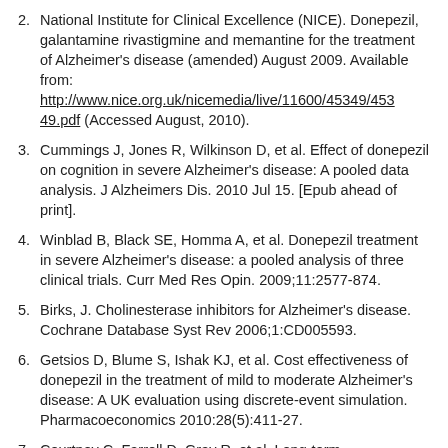2. National Institute for Clinical Excellence (NICE). Donepezil, galantamine rivastigmine and memantine for the treatment of Alzheimer's disease (amended) August 2009. Available from: http://www.nice.org.uk/nicemedia/live/11600/45349/45349.pdf (Accessed August, 2010).
3. Cummings J, Jones R, Wilkinson D, et al. Effect of donepezil on cognition in severe Alzheimer's disease: A pooled data analysis. J Alzheimers Dis. 2010 Jul 15. [Epub ahead of print].
4. Winblad B, Black SE, Homma A, et al. Donepezil treatment in severe Alzheimer's disease: a pooled analysis of three clinical trials. Curr Med Res Opin. 2009;11:2577-874.
5. Birks, J. Cholinesterase inhibitors for Alzheimer's disease. Cochrane Database Syst Rev 2006;1:CD005593.
6. Getsios D, Blume S, Ishak KJ, et al. Cost effectiveness of donepezil in the treatment of mild to moderate Alzheimer's disease: A UK evaluation using discrete-event simulation. Pharmacoeconomics 2010:28(5):411-27.
7. Courtney C, Farrell D, Gray R, et al. Long-term